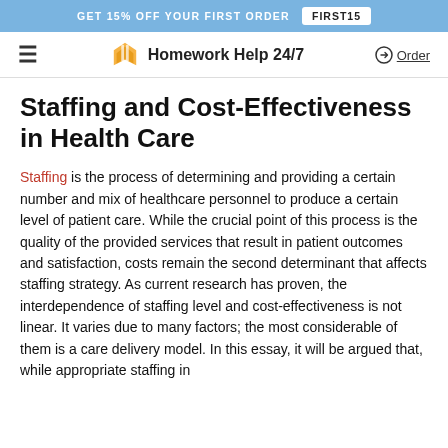GET 15% OFF YOUR FIRST ORDER  FIRST15
Homework Help 24/7  Order
Staffing and Cost-Effectiveness in Health Care
Staffing is the process of determining and providing a certain number and mix of healthcare personnel to produce a certain level of patient care. While the crucial point of this process is the quality of the provided services that result in patient outcomes and satisfaction, costs remain the second determinant that affects staffing strategy. As current research has proven, the interdependence of staffing level and cost-effectiveness is not linear. It varies due to many factors; the most considerable of them is a care delivery model. In this essay, it will be argued that, while appropriate staffing in